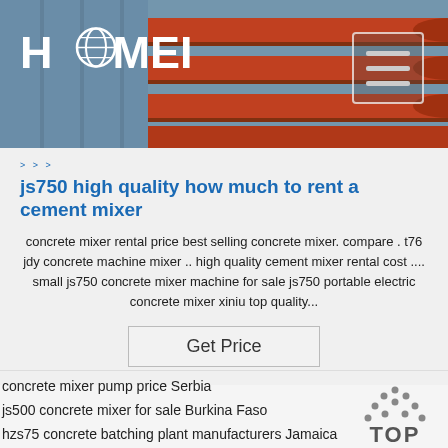[Figure (photo): Header banner showing industrial red pipes/tubes with Haomei logo on left and hamburger menu button on right]
js750 high quality how much to rent a cement mixer
concrete mixer rental price best selling concrete mixer. compare . t76 jdy concrete machine mixer .. high quality cement mixer rental cost .... small js750 concrete mixer machine for sale js750 portable electric concrete mixer xiniu top quality...
concrete mixer pump price Serbia
js500 concrete mixer for sale Burkina Faso
hzs75 concrete batching plant manufacturers Jamaica
concrete batching mixer Qatar
concrete pole factory New Zealand
mixers equipment Bermuda
crane load limiter Costa Rica
concrete mixer with pump Brazil